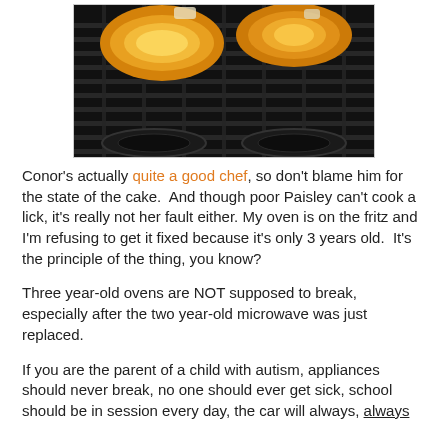[Figure (photo): Two halves of an orange/squash on a dark metal grill or oven rack, seen from above. Background is dark grill grates.]
Conor's actually quite a good chef, so don't blame him for the state of the cake.  And though poor Paisley can't cook a lick, it's really not her fault either. My oven is on the fritz and I'm refusing to get it fixed because it's only 3 years old.  It's the principle of the thing, you know?
Three year-old ovens are NOT supposed to break, especially after the two year-old microwave was just replaced.
If you are the parent of a child with autism, appliances should never break, no one should ever get sick, school should be in session every day, the car will always, always EVER